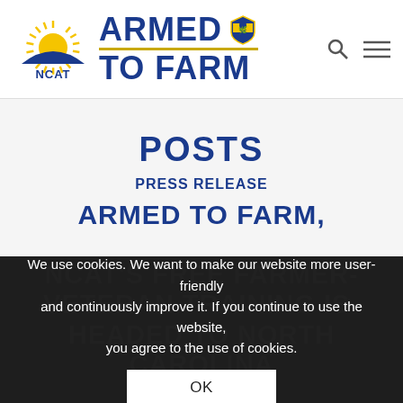[Figure (logo): NCAT Armed to Farm logo with sun graphic and shield badge]
POSTS
PRESS RELEASE
ARMED TO FARM, NCAT'S FREE FARMER-VETERAN TRAINING IS-HEADED TO NORTH CAROLINA
We use cookies. We want to make our website more user-friendly and continuously improve it. If you continue to use the website, you agree to the use of cookies.
OK